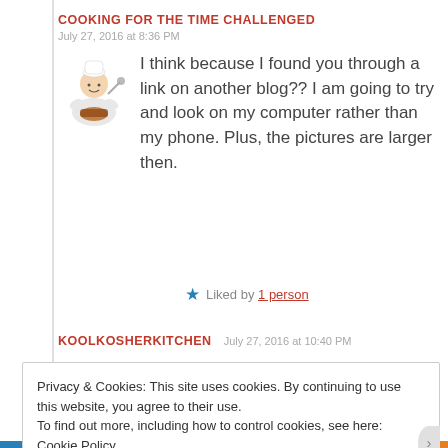COOKING FOR THE TIME CHALLENGED
July 27, 2016 at 8:36 PM
I think because I found you through a link on another blog?? I am going to try and look on my computer rather than my phone. Plus, the pictures are larger then.
Liked by 1 person
KOOLKOSHERKITCHEN  July 27, 2016 at 10:40 PM
Privacy & Cookies: This site uses cookies. By continuing to use this website, you agree to their use.
To find out more, including how to control cookies, see here: Cookie Policy
Close and accept